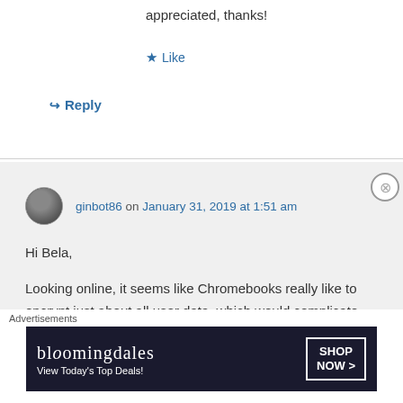appreciated, thanks!
★ Like
↪ Reply
ginbot86 on January 31, 2019 at 1:51 am
Hi Bela,
Looking online, it seems like Chromebooks really like to encrypt just about all user data, which would complicate data recovery efforts. It's certainly possible hardware-wise to remove the chip and download the
Advertisements
[Figure (other): Bloomingdale's advertisement banner with text 'View Today's Top Deals!' and 'SHOP NOW >']